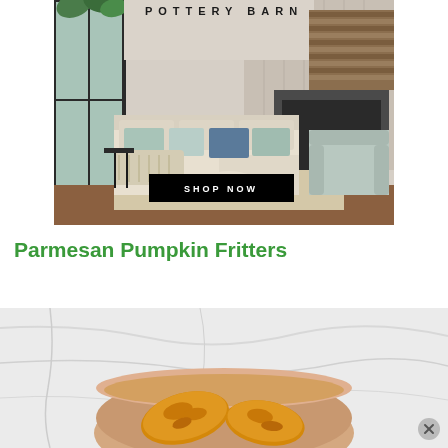[Figure (advertisement): Pottery Barn advertisement showing a cozy living room with a large beige sectional sofa with teal and blue throw pillows, a knit blanket, side table, round coffee table, armchair, fireplace with wood stack, and a 'SHOP NOW' button overlay. Pottery Barn logo at top.]
Parmesan Pumpkin Fritters
[Figure (photo): Close-up photo of golden fried pumpkin fritters in a round bowl on a marble surface, partially cropped.]